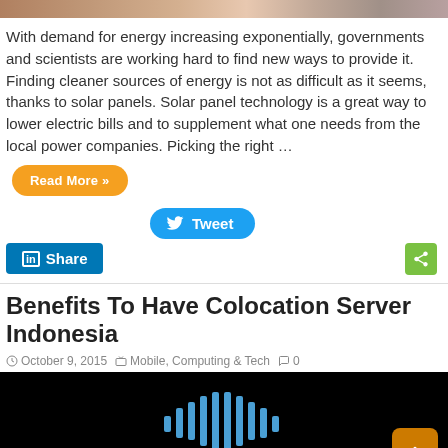[Figure (photo): Top portion of a photo, partially visible at the top of the page (cropped)]
With demand for energy increasing exponentially, governments and scientists are working hard to find new ways to provide it. Finding cleaner sources of energy is not as difficult as it seems, thanks to solar panels. Solar panel technology is a great way to lower electric bills and to supplement what one needs from the local power companies. Picking the right …
Read More »
[Figure (screenshot): Tweet button (Twitter/X social share button)]
[Figure (screenshot): LinkedIn Share button and social sharing icons (share, email, WhatsApp)]
Benefits To Have Colocation Server Indonesia
October 9, 2015   Mobile, Computing & Tech   0
[Figure (logo): Black background with Nex logo (audio waveform bars and 'nex' text in blue) and a back-to-top arrow button in orange]